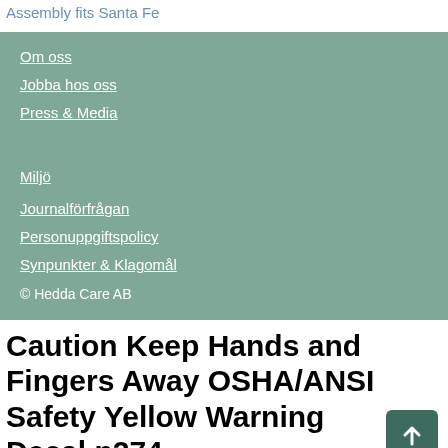Assembly fits Santa Fe
Om oss
Jobba hos oss
Press & Media
Miljö
Journalförfrågan
Personuppgiftspolicy
Synpunkter & Klagomål
© Hedda Care AB
Caution Keep Hands and Fingers Away OSHA/ANSI Safety Yellow Warning Decal p274